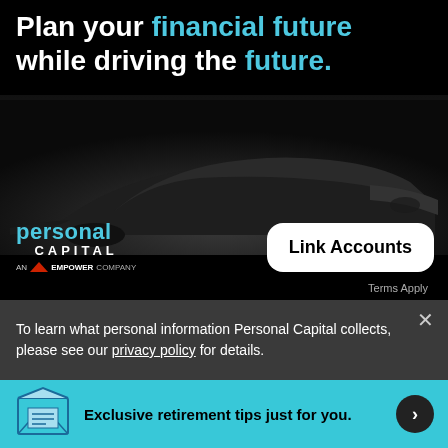[Figure (illustration): Personal Capital advertisement banner showing a sports car in dark background with text 'Plan your financial future while driving the future.' and a 'Link Accounts' button. Logo says 'personal CAPITAL AN EMPOWER COMPANY'.]
To learn what personal information Personal Capital collects, please see our privacy policy for details.
Exclusive retirement tips just for you.